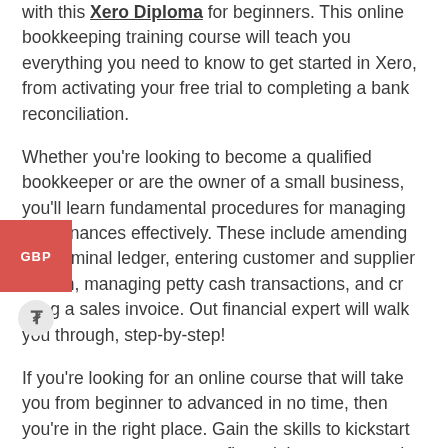with this Xero Diploma for beginners. This online bookkeeping training course will teach you everything you need to know to get started in Xero, from activating your free trial to completing a bank reconciliation.
Whether you're looking to become a qualified bookkeeper or are the owner of a small business, you'll learn fundamental procedures for managing your finances effectively. These include amending the nominal ledger, entering customer and supplier information, managing petty cash transactions, and creating a sales invoice. Out financial expert will walk you through, step-by-step!
If you're looking for an online course that will take you from beginner to advanced in no time, then you're in the right place. Gain the skills to kickstart your career, manage your financial accounts, and start your own bookkeeping business, and get certified in just 20/30 hours!
Become an expert in Xero bookkeeping and enjoy faster